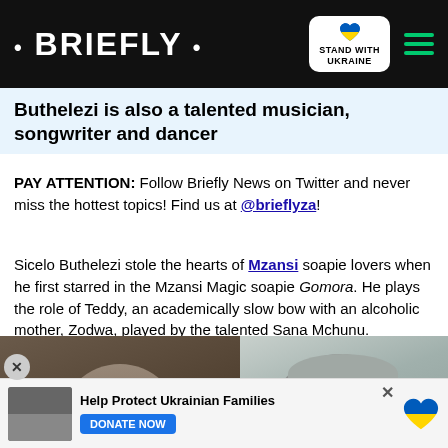· BRIEFLY ·
Buthelezi is also a talented musician, songwriter and dancer
PAY ATTENTION: Follow Briefly News on Twitter and never miss the hottest topics! Find us at @brieflyza!
Sicelo Buthelezi stole the hearts of Mzansi soapie lovers when he first starred in the Mzansi Magic soapie Gomora. He plays the role of Teddy, an academically slow bow with an alcoholic mother, Zodwa, played by the talented Sana Mchunu.
[Figure (screenshot): Video thumbnail showing two people, with play button overlay, caption 'SHE DIRECTED THE END OF HER MARRIAGE' and a down arrow button]
[Figure (photo): Photo of a person wearing a light grey cap outdoors]
Help Protect Ukrainian Families — DONATE NOW